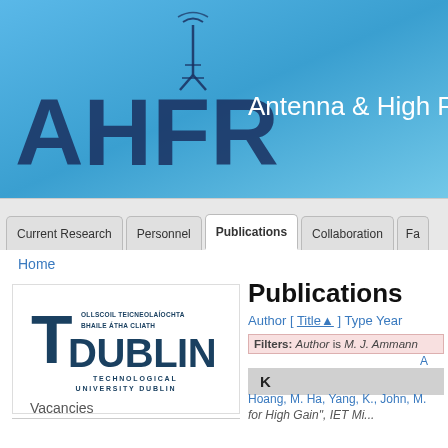[Figure (logo): AHFR Antenna & High Frequency Research group logo with tower icon on blue gradient background]
Antenna & High Fre...
Current Research | Personnel | Publications | Collaboration | Fa...
Home
[Figure (logo): TU Dublin - Technological University Dublin logo with T and Dublin text in dark teal]
Publications
Author [ Title▲ ] Type Year
Filters: Author is M. J. Ammann  [A...]
K
Hoang, M. Ha, Yang, K., John, M. ...
for High Gain", IET Mi...
Vacancies